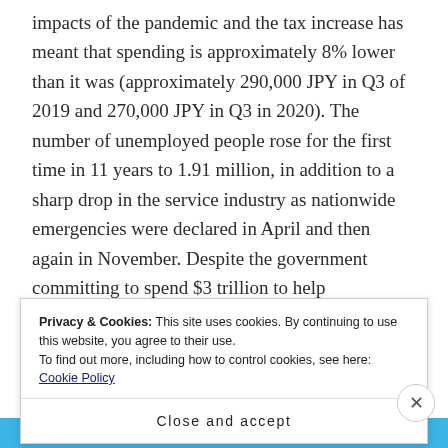impacts of the pandemic and the tax increase has meant that spending is approximately 8% lower than it was (approximately 290,000 JPY in Q3 of 2019 and 270,000 JPY in Q3 in 2020). The number of unemployed people rose for the first time in 11 years to 1.91 million, in addition to a sharp drop in the service industry as nationwide emergencies were declared in April and then again in November. Despite the government committing to spend $3 trillion to help
Privacy & Cookies: This site uses cookies. By continuing to use this website, you agree to their use.
To find out more, including how to control cookies, see here:
Cookie Policy
Close and accept